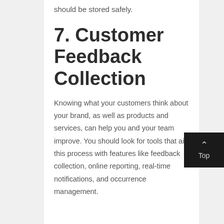should be stored safely.
7. Customer Feedback Collection
Knowing what your customers think about your brand, as well as products and services, can help you and your team improve. You should look for tools that aid this process with features like feedback collection, online reporting, real-time notifications, and occurrence management.